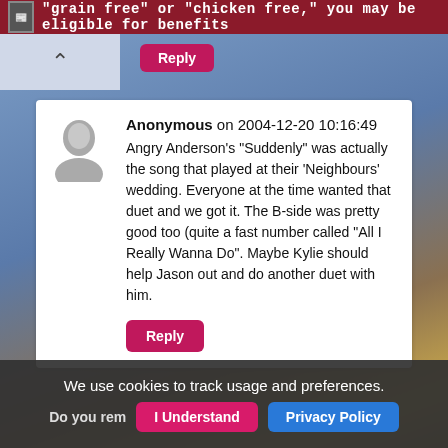"grain free" or "chicken free," you may be eligible for benefits
Anonymous on 2004-12-20 10:16:49
Angry Anderson's "Suddenly" was actually the song that played at their 'Neighbours' wedding. Everyone at the time wanted that duet and we got it. The B-side was pretty good too (quite a fast number called "All I Really Wanna Do". Maybe Kylie should help Jason out and do another duet with him.
Reply
Follow us on Facebook!
We use cookies to track usage and preferences.
Do you rem... I Understand  Privacy Policy